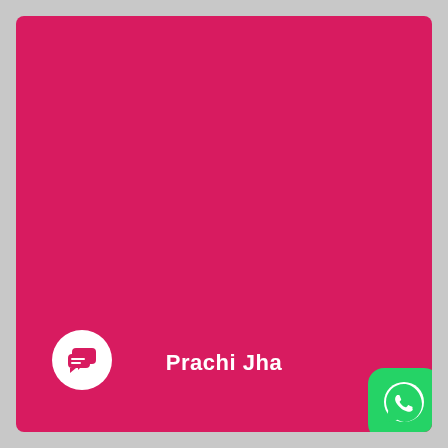[Figure (logo): Solid crimson/hot-pink background card with a white circular chat/messaging logo icon in the bottom-left, bold white text 'Prachi Jha' centered at the bottom, and a WhatsApp icon in the bottom-right corner.]
Prachi Jha